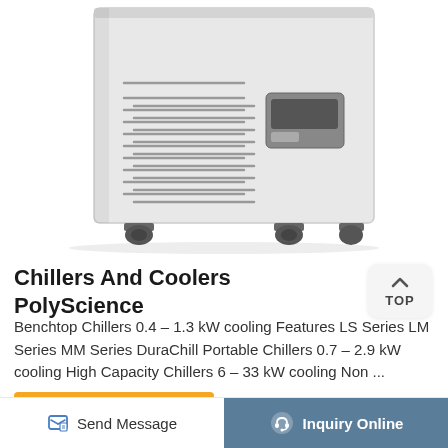[Figure (photo): A white PolyScience industrial chiller/cooler unit on casters, viewed from the rear/side showing ventilation grilles and a control panel, partial top cut off]
Chillers And Coolers PolyScience
Benchtop Chillers 0.4 – 1.3 kW cooling Features LS Series LM Series MM Series DuraChill Portable Chillers 0.7 – 2.9 kW cooling High Capacity Chillers 6 – 33 kW cooling Non ...
More Product
Send Message
Inquiry Online